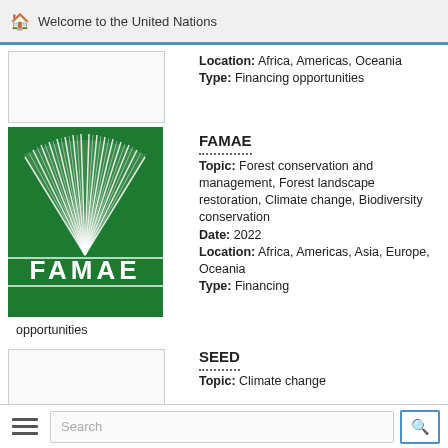Welcome to the United Nations
Location: Africa, Americas, Oceania
Type: Financing opportunities
[Figure (logo): FAMAE logo: green background with white fan/leaf radiating design and FAMAE text at bottom]
FAMAE
Topic: Forest conservation and management, Forest landscape restoration, Climate change, Biodiversity conservation
Date: 2022
Location: Africa, Americas, Asia, Europe, Oceania
Type: Financing opportunities
SEED
Topic: Climate change